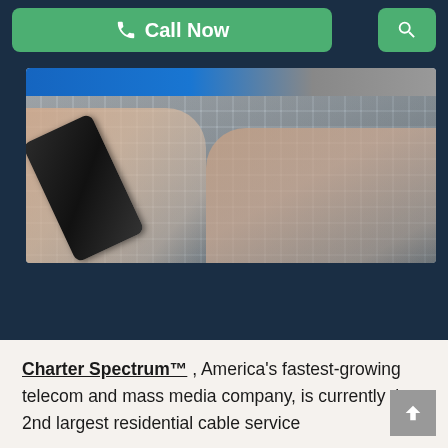Call Now | Search
[Figure (photo): Person holding a smartphone in left hand and typing on a laptop keyboard with right hand. Blue banner visible at top of image.]
Charter Spectrum™ , America's fastest-growing telecom and mass media company, is currently the 2nd largest residential cable service